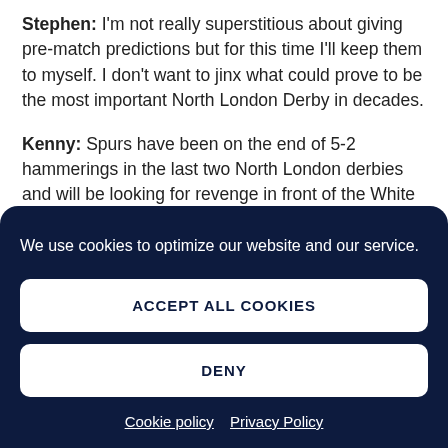Stephen: I'm not really superstitious about giving pre-match predictions but for this time I'll keep them to myself. I don't want to jinx what could prove to be the most important North London Derby in decades.
Kenny: Spurs have been on the end of 5-2 hammerings in the last two North London derbies and will be looking for revenge in front of the White Hart Lane faithful. It will be another open game between two teams who have won
We use cookies to optimize our website and our service.
ACCEPT ALL COOKIES
DENY
Cookie policy  Privacy Policy